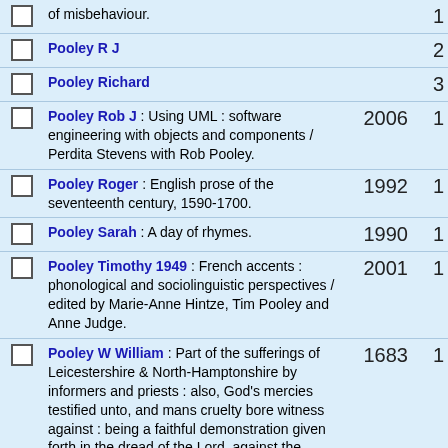of misbehaviour. [count: 1]
Pooley R J [count: 2]
Pooley Richard [count: 3]
Pooley Rob J : Using UML : software engineering with objects and components / Perdita Stevens with Rob Pooley. 2006 [count: 1]
Pooley Roger : English prose of the seventeenth century, 1590-1700. 1992 [count: 1]
Pooley Sarah : A day of rhymes. 1990 [count: 1]
Pooley Timothy 1949 : French accents : phonological and sociolinguistic perspectives / edited by Marie-Anne Hintze, Tim Pooley and Anne Judge. 2001 [count: 1]
Pooley W William : Part of the sufferings of Leicestershire & North-Hamptonshire by informers and priests : also, God's mercies testified unto, and mans cruelty bore witness against : being a faithful demonstration given forth in the dread of the Lord, against the cruelty of persecution, as it hath of late been manifested, and notoriously acted by the priest and people of the town of Farthingstone in the county of North-Hampton to shame of their professed religion and to the injury of those who truly fear God and worship him : which may be as a prospect unto them, whereby they may behold themselves and consider 1683 [count: 1]